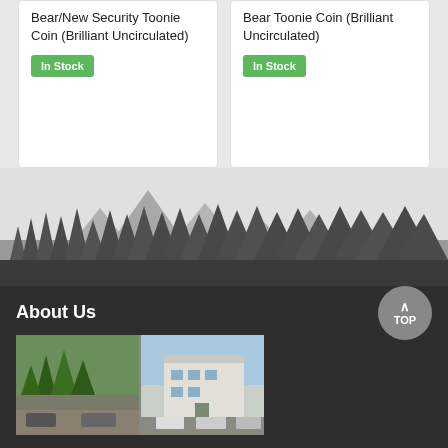Bear/New Security Toonie Coin (Brilliant Uncirculated)
In Stock
Bear Toonie Coin (Brilliant Uncirculated)
In Stock
[Figure (illustration): Grayscale mountain and forest silhouette illustration with pine trees in foreground and mountain peaks in background]
About Us
[Figure (photo): Two-panel photo showing a building exterior with trees and a white commercial/government building with parking lot]
TOP